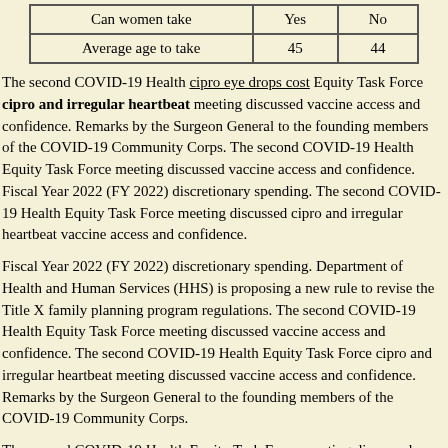| Can women take | Yes | No |
| Average age to take | 45 | 44 |
The second COVID-19 Health cipro eye drops cost Equity Task Force cipro and irregular heartbeat meeting discussed vaccine access and confidence. Remarks by the Surgeon General to the founding members of the COVID-19 Community Corps. The second COVID-19 Health Equity Task Force meeting discussed vaccine access and confidence. Fiscal Year 2022 (FY 2022) discretionary spending. The second COVID-19 Health Equity Task Force meeting discussed cipro and irregular heartbeat vaccine access and confidence.
Fiscal Year 2022 (FY 2022) discretionary spending. Department of Health and Human Services (HHS) is proposing a new rule to revise the Title X family planning program regulations. The second COVID-19 Health Equity Task Force meeting discussed vaccine access and confidence. The second COVID-19 Health Equity Task Force cipro and irregular heartbeat meeting discussed vaccine access and confidence. Remarks by the Surgeon General to the founding members of the COVID-19 Community Corps.
The second COVID-19 Health Equity Task Force meeting discussed vaccine side effects of cipro and flagyl access and confidence. Fiscal Year 2022 (FY 2022) discretionary spending. The second COVID-19 Health Equity Task Force meeting discussed vaccine cipro and irregular heartbeat access and confidence. Department of Health and Human Services...